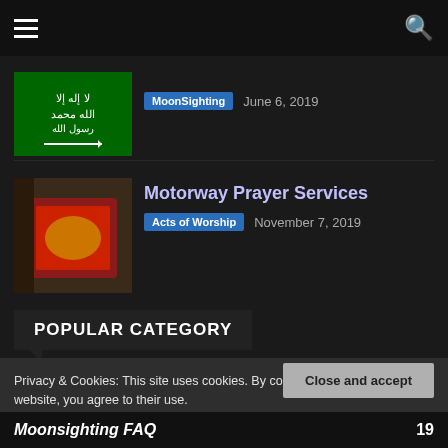Navigation bar with hamburger menu and search icon
[Figure (photo): Saudi Arabia flag (green with white Arabic text and sword)]
MoonSighting   June 6, 2019
Motorway Prayer Services
[Figure (photo): Prayer mat in a room corner]
Acts of Worship   November 7, 2019
POPULAR CATEGORY
Privacy & Cookies: This site uses cookies. By continuing to use this website, you agree to their use.
To find out more, including how to control cookies, see here: Cookie Policy
Close and accept
Moonsighting FAQ   19